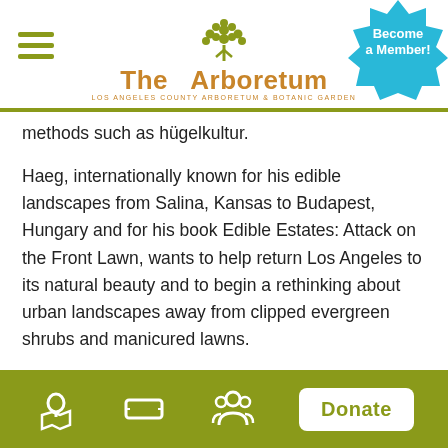The Arboretum — LOS ANGELES COUNTY ARBORETUM & BOTANIC GARDEN
methods such as hügelkultur.
Haeg, internationally known for his edible landscapes from Salina, Kansas to Budapest, Hungary and for his book Edible Estates: Attack on the Front Lawn, wants to help return Los Angeles to its natural beauty and to begin a rethinking about urban landscapes away from clipped evergreen shrubs and manicured lawns.
“Wildflowering L.A. is an evolution of my work toward looking at more wild and natural landscapes and my interest in natural spaces as communal spaces to be shared, “he explained during a December visit to the
Donate